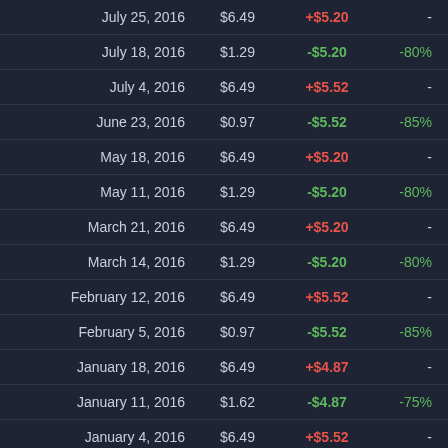| Date | Price | Change | % Change |
| --- | --- | --- | --- |
| July 25, 2016 | $6.49 | +$5.20 | - |
| July 18, 2016 | $1.29 | -$5.20 | -80% |
| July 4, 2016 | $6.49 | +$5.52 | - |
| June 23, 2016 | $0.97 | -$5.52 | -85% |
| May 18, 2016 | $6.49 | +$5.20 | - |
| May 11, 2016 | $1.29 | -$5.20 | -80% |
| March 21, 2016 | $6.49 | +$5.20 | - |
| March 14, 2016 | $1.29 | -$5.20 | -80% |
| February 12, 2016 | $6.49 | +$5.52 | - |
| February 5, 2016 | $0.97 | -$5.52 | -85% |
| January 18, 2016 | $6.49 | +$4.87 | - |
| January 11, 2016 | $1.62 | -$4.87 | -75% |
| January 4, 2016 | $6.49 | +$5.52 | - |
| December 22, 2015 | $0.97 | -$5.52 | -85% |